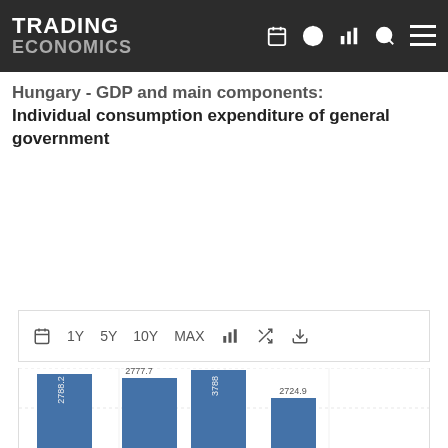TRADING ECONOMICS
Hungary - GDP and main components: Individual consumption expenditure of general government
[Figure (bar-chart): Individual consumption expenditure of general government]